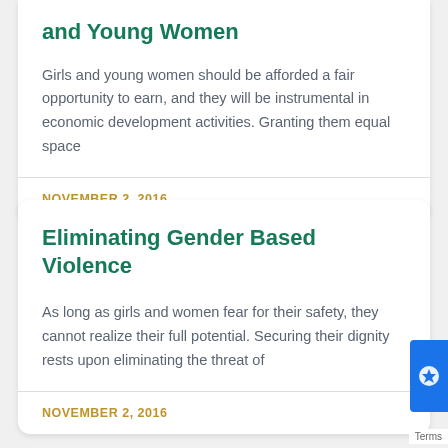and Young Women
Girls and young women should be afforded a fair opportunity to earn, and they will be instrumental in economic development activities. Granting them equal space
NOVEMBER 2, 2016
Eliminating Gender Based Violence
As long as girls and women fear for their safety, they cannot realize their full potential. Securing their dignity rests upon eliminating the threat of
NOVEMBER 2, 2016